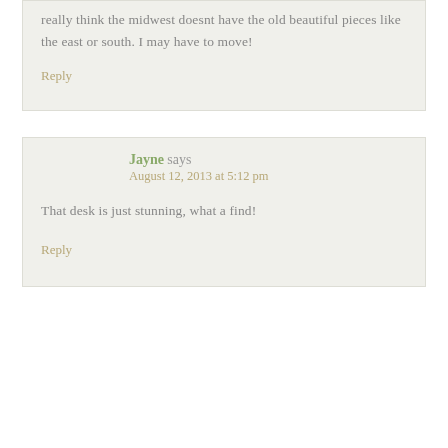really think the midwest doesnt have the old beautiful pieces like the east or south. I may have to move!
Reply
Jayne says
August 12, 2013 at 5:12 pm
That desk is just stunning, what a find!
Reply